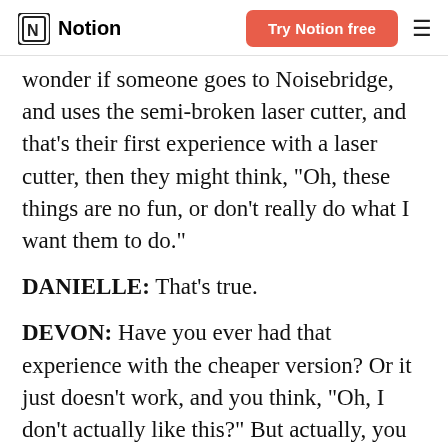Notion | Try Notion free
wonder if someone goes to Noisebridge, and uses the semi-broken laser cutter, and that's their first experience with a laser cutter, then they might think, "Oh, these things are no fun, or don't really do what I want them to do."
DANIELLE: That's true.
DEVON: Have you ever had that experience with the cheaper version? Or it just doesn't work, and you think, "Oh, I don't actually like this?" But actually, you would have loved it if you had gotten a fancy one.
DANIELLE: Yeah, I'm experiencing that right